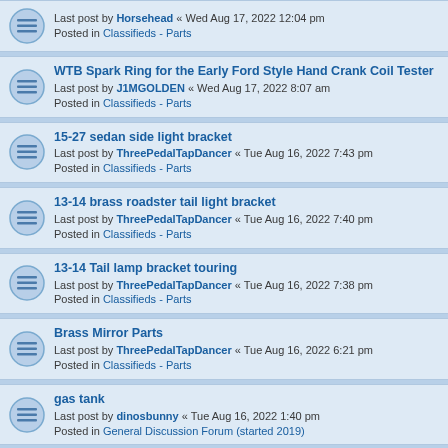Last post by Horsehead « Wed Aug 17, 2022 12:04 pm
Posted in Classifieds - Parts
WTB Spark Ring for the Early Ford Style Hand Crank Coil Tester
Last post by J1MGOLDEN « Wed Aug 17, 2022 8:07 am
Posted in Classifieds - Parts
15-27 sedan side light bracket
Last post by ThreePedalTapDancer « Tue Aug 16, 2022 7:43 pm
Posted in Classifieds - Parts
13-14 brass roadster tail light bracket
Last post by ThreePedalTapDancer « Tue Aug 16, 2022 7:40 pm
Posted in Classifieds - Parts
13-14 Tail lamp bracket touring
Last post by ThreePedalTapDancer « Tue Aug 16, 2022 7:38 pm
Posted in Classifieds - Parts
Brass Mirror Parts
Last post by ThreePedalTapDancer « Tue Aug 16, 2022 6:21 pm
Posted in Classifieds - Parts
gas tank
Last post by dinosbunny « Tue Aug 16, 2022 1:40 pm
Posted in General Discussion Forum (started 2019)
early steering wheel
Last post by Melba Nolan « Tue Aug 16, 2022 1:34 pm
Posted in Classifieds - Parts
AACA Hershey Fall Meet - Friday Car Show
Last post by Retro54 « Sun Aug 14, 2022 9:44 pm
Posted in General Discussion Forum (started 2019)